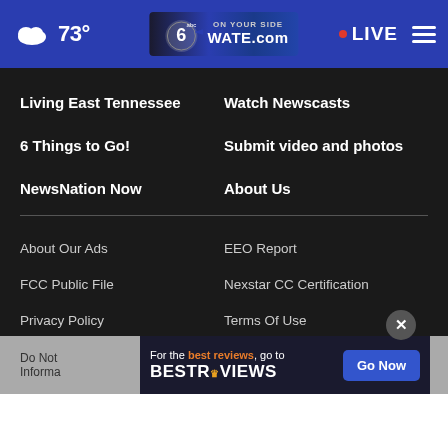73° WATE.com LIVE
Living East Tennessee
Watch Newscasts
6 Things to Go!
Submit video and photos
NewsNation Now
About Us
About Our Ads
EEO Report
FCC Public File
Nexstar CC Certification
Privacy Policy
Terms Of Use
Do Not... Informa... For the best reviews, go to BESTREVIEWS Go Now